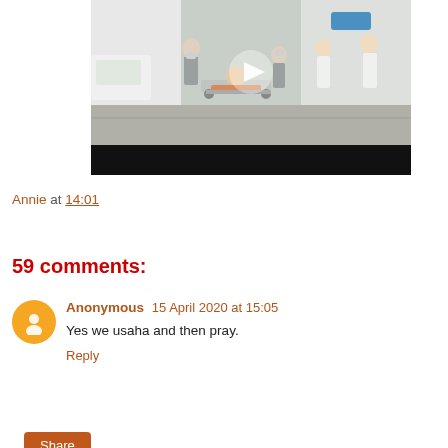[Figure (photo): Video thumbnail showing hospital scene with medical staff in masks and a patient on a gurney outdoors, with a play button overlay and black video control bar at bottom.]
Annie at 14:01
Share
59 comments:
Anonymous  15 April 2020 at 15:05
Yes we usaha and then pray.
Reply